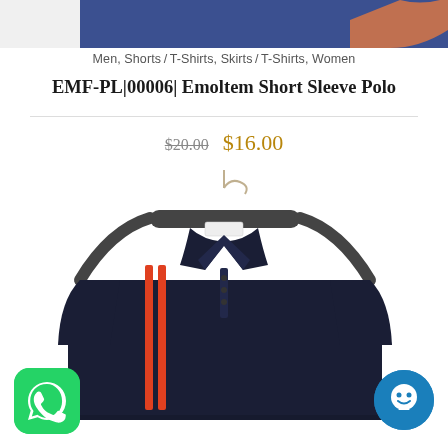[Figure (photo): Partial crop of a person wearing a blue polo shirt, torso area visible at top of page]
Men, Shorts / T-Shirts, Skirts / T-Shirts, Women
EMF-PL|00006| Emoltem Short Sleeve Polo
$20.00  $16.00
[Figure (photo): A dark navy blue short sleeve polo shirt with two orange/red vertical stripes on the left chest side, hanging on a black clothes hanger against a white background]
[Figure (logo): WhatsApp icon button - green rounded square with white phone handset logo]
[Figure (logo): Live chat button - blue circle with white chat/face icon]